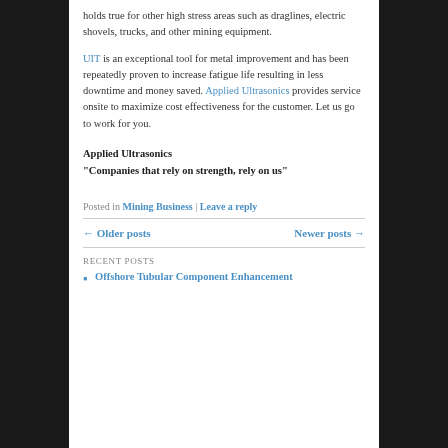holds true for other high stress areas such as draglines, electric shovels, trucks, and other mining equipment.
UIT is an exceptional tool for metal improvement and has been repeatedly proven to increase fatigue life resulting in less downtime and money saved. Applied Ultrasonics provides service onsite to maximize cost effectiveness for the customer. Let us go to work for you.
Applied Ultrasonics
“Companies that rely on strength, rely on us”
Posted in Mining Business | Leave a reply
← Older posts    Newer posts →
RECENT POSTS
Offshore Tubular Component Enhancement